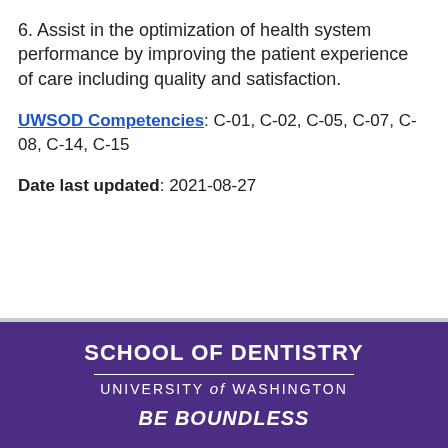6. Assist in the optimization of health system performance by improving the patient experience of care including quality and satisfaction.
UWSOD Competencies: C-01, C-02, C-05, C-07, C-08, C-14, C-15
Date last updated: 2021-08-27
[Figure (logo): University of Washington School of Dentistry logo with purple background. Shows 'SCHOOL OF DENTISTRY' in bold white text, 'UNIVERSITY of WASHINGTON' below a horizontal rule, and 'BE BOUNDLESS' in bold italic white text at the bottom.]